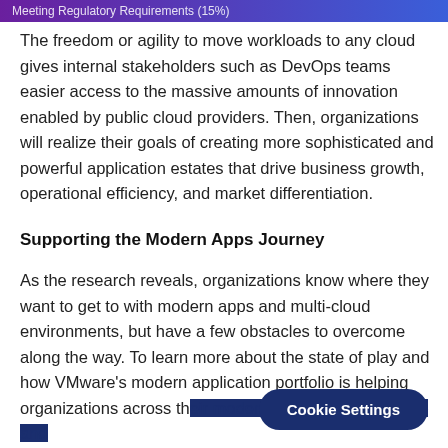Meeting Regulatory Requirements (15%)
The freedom or agility to move workloads to any cloud gives internal stakeholders such as DevOps teams easier access to the massive amounts of innovation enabled by public cloud providers. Then, organizations will realize their goals of creating more sophisticated and powerful application estates that drive business growth, operational efficiency, and market differentiation.
Supporting the Modern Apps Journey
As the research reveals, organizations know where they want to get to with modern apps and multi-cloud environments, but have a few obstacles to overcome along the way. To learn more about the state of play and how VMware's modern application portfolio is helping organizations across the modern apps, transformation, and...